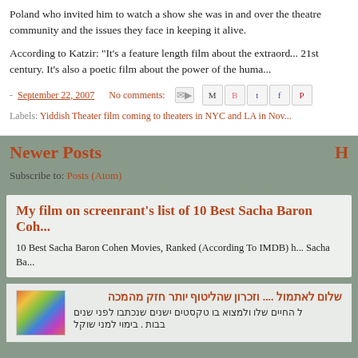Poland who invited him to watch a show she was in and over the theatre community and the issues they face in keeping it alive.
According to Katzir: "It's a feature length film about the extraordinary 21st century. It's also a poetic film about the power of the human..."
- September 22, 2007   No comments:   [email icon] [share icons]
Labels: Yiddish Theater film coming to theaters in NYC and LA in Nov...
Newer Posts
Subscribe to: Posts (Atom)
My film on screenrant's list of 10 Best Sacha Baron Coh...
10 Best Sacha Baron Cohen Movies, Ranked (According To IMDB) h... Sacha Ba...
[Figure (photo): Colorful confetti or mosaic thumbnail image]
שלום לאתמול .... וזכרון שהליטוף יותר חזק מהמכה
ל החיים שלו ולמצוא בו טקסטים ישנים שנכתבו לפני שנים בבות . בימוי למני שוקל